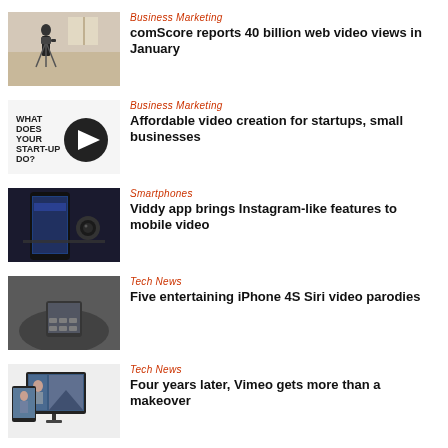[Figure (photo): Person with camera on tripod in indoor space]
Business Marketing
comScore reports 40 billion web video views in January
[Figure (illustration): Text reading WHAT DOES YOUR STARTUP DO? with a play button circle]
Business Marketing
Affordable video creation for startups, small businesses
[Figure (photo): Smartphone showing Viddy app interface]
Smartphones
Viddy app brings Instagram-like features to mobile video
[Figure (photo): Black and white photo of hands holding a smartphone]
Tech News
Five entertaining iPhone 4S Siri video parodies
[Figure (photo): Multiple screens showing Vimeo interface]
Tech News
Four years later, Vimeo gets more than a makeover
[Figure (logo): SoundCloud logo partial]
Tech News